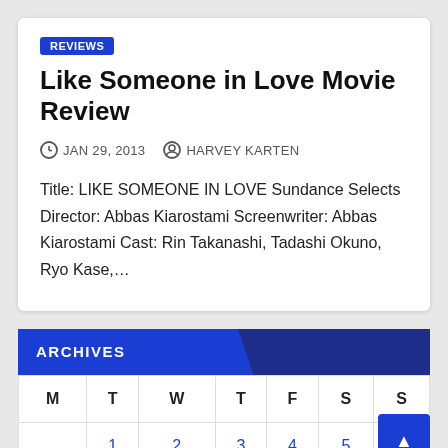REVIEWS
Like Someone in Love Movie Review
JAN 29, 2013   HARVEY KARTEN
Title: LIKE SOMEONE IN LOVE Sundance Selects Director: Abbas Kiarostami Screenwriter: Abbas Kiarostami Cast: Rin Takanashi, Tadashi Okuno, Ryo Kase,…
ARCHIVES
| M | T | W | T | F | S | S |
| --- | --- | --- | --- | --- | --- | --- |
|  | 1 | 2 | 3 | 4 | 5 | 6 |